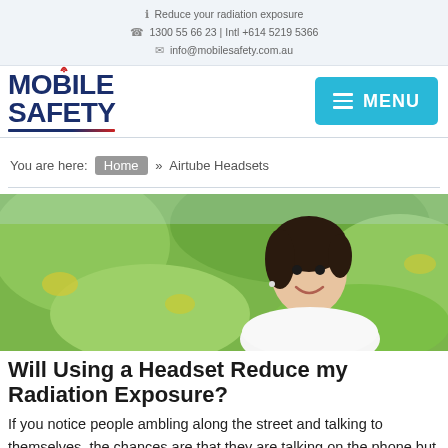ℹ Reduce your radiation exposure
☎ 1300 55 66 23 | Intl +614 5219 5366
✉ info@mobilesafety.com.au
[Figure (logo): Mobile Safety logo with red wifi arc, dark blue bold text 'MOBILE SAFETY', underline in blue and red]
[Figure (other): Cyan blue MENU button with hamburger icon]
You are here: Home » Airtube Headsets
[Figure (photo): Woman smiling outdoors with green leafy background, wearing white, with earbuds]
Will Using a Headset Reduce my Radiation Exposure?
If you notice people ambling along the street and talking to themselves, the chances are that they are talking on the phone but using a hands-free mobile phone kit. These headsets sound like a great idea as they keep the phone, and you might think the radiation, away from your head. But if you use one for protection you will be alarmed by the findings below